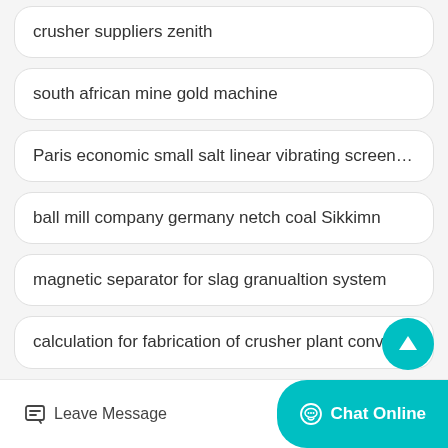crusher suppliers zenith
south african mine gold machine
Paris economic small salt linear vibrating screen sell
ball mill company germany netch coal Sikkimn
magnetic separator for slag granualtion system
calculation for fabrication of crusher plant conveyors
Mongolia high end medium copper mine stone crushing ma…
Leave Message   Chat Online